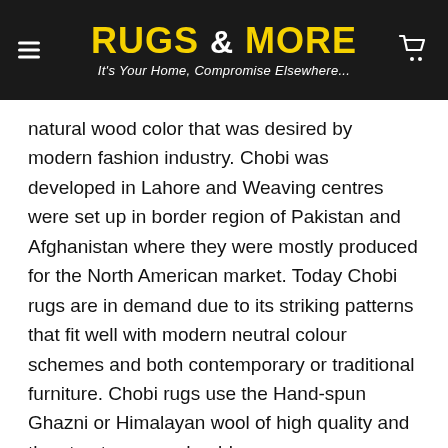[Figure (logo): Rugs & More website header with dark background, yellow bold logo text 'RUGS & MORE', tagline 'It's Your Home, Compromise Elsewhere...', hamburger menu icon on left, shopping cart icon on right]
natural wood color that was desired by modern fashion industry. Chobi was developed in Lahore and Weaving centres were set up in border region of Pakistan and Afghanistan where they were mostly produced for the North American market. Today Chobi rugs are in demand due to its striking patterns that fit well with modern neutral colour schemes and both contemporary or traditional furniture. Chobi rugs use the Hand-spun Ghazni or Himalayan wool of high quality and the structure very durable.
Hand knotted rugs are the cream of the crop when it comes to area rugs. A skilled weaver individually ties every Single knot to create intricate patterns and designs. At Rugs & More, we use the top grain purest wool to provide the highest quality, one-of-a-kind, Hand knotted rugs in New Zealand. Our Hand Knotted rugs are considered to be of first